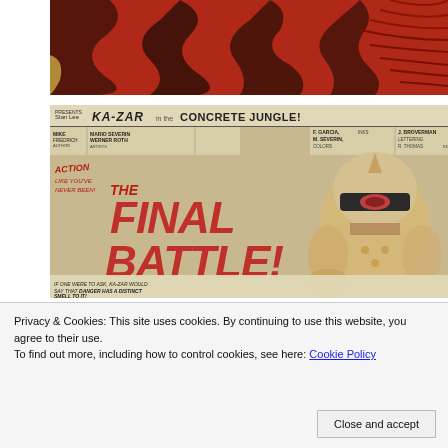[Figure (photo): Top portion of a comic book page showing a red tiger or animal with black stripes, cropped at top]
[Figure (illustration): Comic book page splash panel: 'Stan Lee Presents KA-ZAR in CONCRETE JUNGLE!' header bar with credits for Mike Friedrich, Mario Severin, Werner Roth, F. Garcia, M. Severin, J. Broverman, R. Thomas. Large red text reads 'ACTION LIKE YOU'VE NEVER BEEN! THE FINAL BATTLE!' with a villain character in helmet/mask on the right. Bottom caption reads 'IF ONE WERE TO ASK, KA-ZAR WOULD SAY THAT DANGER HAS A DISTINCT SMELL TO IT!']
Privacy & Cookies: This site uses cookies. By continuing to use this website, you agree to their use.
To find out more, including how to control cookies, see here: Cookie Policy
Close and accept